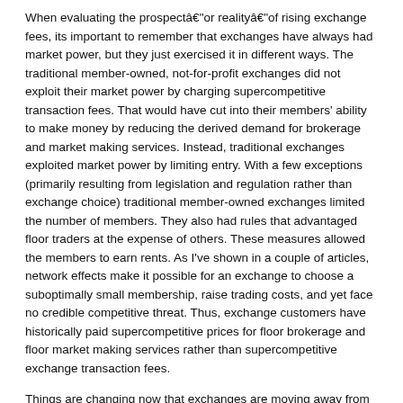When evaluating the prospectâ€”or realityâ€”of rising exchange fees, its important to remember that exchanges have always had market power, but they just exercised it in different ways. The traditional member-owned, not-for-profit exchanges did not exploit their market power by charging supercompetitive transaction fees. That would have cut into their members’ ability to make money by reducing the derived demand for brokerage and market making services. Instead, traditional exchanges exploited market power by limiting entry. With a few exceptions (primarily resulting from legislation and regulation rather than exchange choice) traditional member-owned exchanges limited the number of members. They also had rules that advantaged floor traders at the expense of others. These measures allowed the members to earn rents. As I’ve shown in a couple of articles, network effects make it possible for an exchange to choose a suboptimally small membership, raise trading costs, and yet face no credible competitive threat. Thus, exchange customers have historically paid supercompetitive prices for floor brokerage and floor market making services rather than supercompetitive exchange transaction fees.
Things are changing now that exchanges are moving away from the mutual non-profit (“MNP”) form. Investor-owned exchanges in particular have a new clientele to serve. Rather than catering to the interests of exchange members (typically floor traders or those who leased floor trading rights), some exchanges now respond to the interests of investors. For profit investor owned (“FPIO”) exchanges have no incentive to do this—that is, to limit liquidity and volume—and, indeed, they have the...